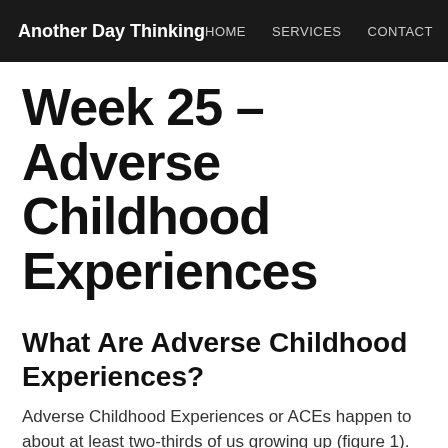Another Day Thinking   HOME   SERVICES   CONTACT
Week 25 – Adverse Childhood Experiences
What Are Adverse Childhood Experiences?
Adverse Childhood Experiences or ACEs happen to about at least two-thirds of us growing up (figure 1). They can be grouped